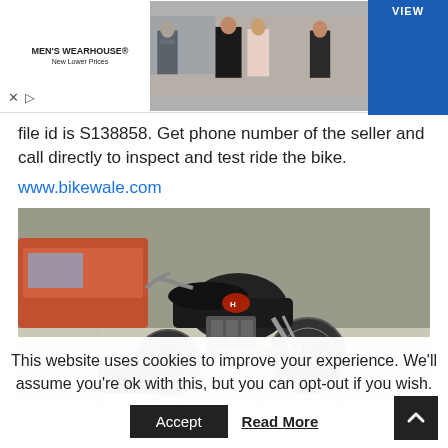[Figure (photo): Men's Wearhouse advertisement banner with couple in formal wear and 'VIEW' button]
file id is S138858. Get phone number of the seller and call directly to inspect and test ride the bike.
www.bikewale.com
[Figure (photo): Photo of a Honda motorcycle parked indoors on a tiled floor]
This website uses cookies to improve your experience. We'll assume you're ok with this, but you can opt-out if you wish.
Accept
Read More